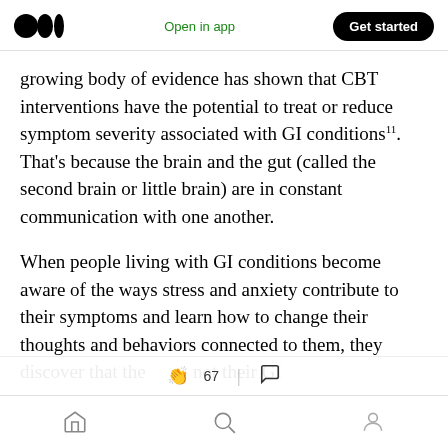Open in app | Get started
growing body of evidence has shown that CBT interventions have the potential to treat or reduce symptom severity associated with GI conditions¹¹. That’s because the brain and the gut (called the second brain or little brain) are in constant communication with one another.
When people living with GI conditions become aware of the ways stress and anxiety contribute to their symptoms and learn how to change their thoughts and behaviors connected to them, they discover that the… – not their GI
67